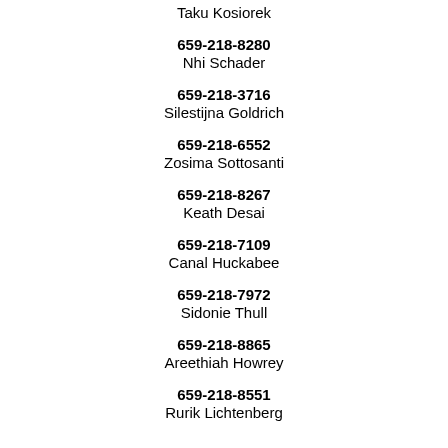Taku Kosiorek
659-218-8280
Nhi Schader
659-218-3716
Silestijna Goldrich
659-218-6552
Zosima Sottosanti
659-218-8267
Keath Desai
659-218-7109
Canal Huckabee
659-218-7972
Sidonie Thull
659-218-8865
Areethiah Howrey
659-218-8551
Rurik Lichtenberg